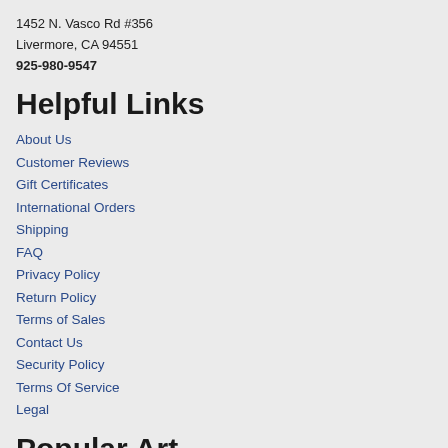1452 N. Vasco Rd #356
Livermore, CA 94551
925-980-9547
Helpful Links
About Us
Customer Reviews
Gift Certificates
International Orders
Shipping
FAQ
Privacy Policy
Return Policy
Terms of Sales
Contact Us
Security Policy
Terms Of Service
Legal
Popular Art